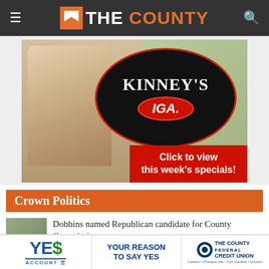THE COUNTY
[Figure (photo): Kinney's IGA advertisement. A young woman holds a grocery bag with fresh produce. Large black oval logo reads KINNEY'S IGA. Text: '42 Skyway Dr, Caribou, Maine!' and red button 'Click to view this week's specials!']
Crown Politics
Dobbins named Republican candidate for County Commissioners race
Voters can meet candidates at town hall
[Figure (advertisement): Bottom banner ad: YES$ ACCOUNT | YOUR REASON TO SAY YES | THE COUNTY FEDERAL CREDIT UNION]